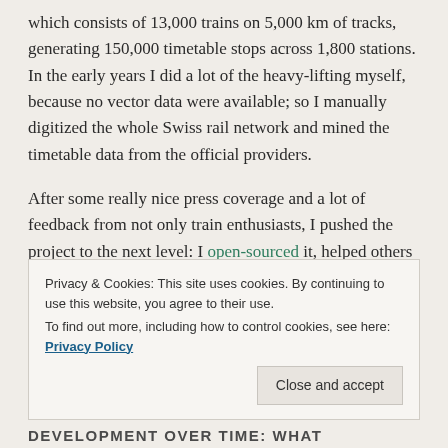which consists of 13,000 trains on 5,000 km of tracks, generating 150,000 timetable stops across 1,800 stations. In the early years I did a lot of the heavy-lifting myself, because no vector data were available; so I manually digitized the whole Swiss rail network and mined the timetable data from the official providers.
After some really nice press coverage and a lot of feedback from not only train enthusiasts, I pushed the project to the next level: I open-sourced it, helped others to implement it for their regions, and from time to time I improved its codebase by updating the APIs or adding new tools to it.
Privacy & Cookies: This site uses cookies. By continuing to use this website, you agree to their use. To find out more, including how to control cookies, see here: Privacy Policy
DEVELOPMENT OVER TIME: WHAT